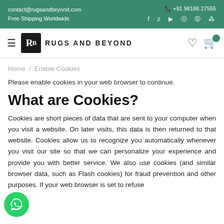contact@rugsandbeyond.com | Free Shipping Worldwide | +91 98186 27555
[Figure (logo): Rugs and Beyond logo with hamburger menu, RB logo box, brand name, heart icon, and cart icon with green badge]
Home / Enable Cookies
Please enable cookies in your web browser to continue.
What are Cookies?
Cookies are short pieces of data that are sent to your computer when you visit a website. On later visits, this data is then returned to that website. Cookies allow us to recognize you automatically whenever you visit our site so that we can personalize your experience and provide you with better service. We also use cookies (and similar browser data, such as Flash cookies) for fraud prevention and other purposes. If your web browser is set to refuse